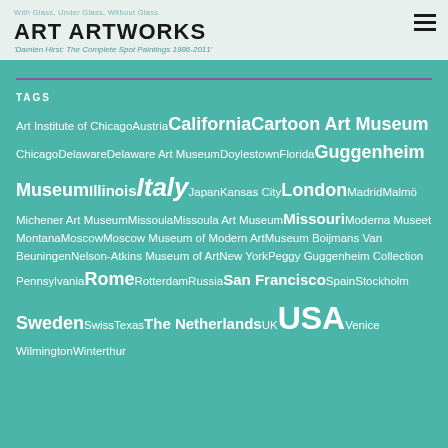With Glass, Under Glass, Without Glass
ART ARTWORKS
'Damien Hirst: The Complete Spot Paintings 1986-2011'
TAGS
Art Institute of Chicago Austria California Cartoon Art Museum Chicago Delaware Delaware Art Museum Doylestown Florida Guggenheim Museum Illinois Italy Japan Kansas City London Madrid Malmö Michener Art Museum Missoula Missoula Art Museum Missouri Moderna Museet Montana Moscow Moscow Museum of Modern Art Museum Boijmans Van Beuningen Nelson-Atkins Museum of Art New York Peggy Guggenheim Collection Pennsylvania Rome Rotterdam Russia San Francisco Spain Stockholm Sweden Swiss Texas The Netherlands UK USA Venice Wilmington Winterthur